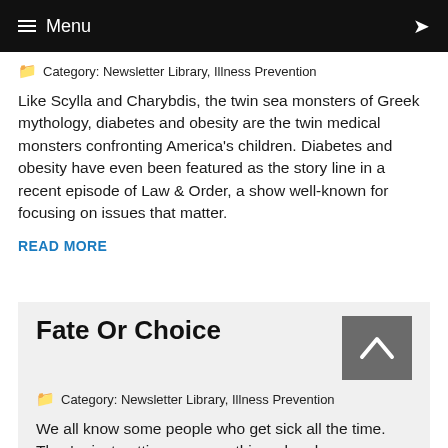Menu
Category: Newsletter Library, Illness Prevention
Like Scylla and Charybdis, the twin sea monsters of Greek mythology, diabetes and obesity are the twin medical monsters confronting America's children. Diabetes and obesity have even been featured as the story line in a recent episode of Law & Order, a show well-known for focusing on issues that matter.
READ MORE
Fate Or Choice
Category: Newsletter Library, Illness Prevention
We all know some people who get sick all the time. They're just getting over one thing when here comes